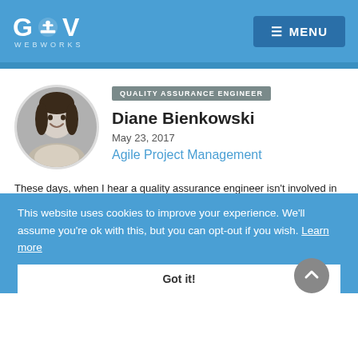GOV WEBWORKS — MENU
[Figure (photo): Circular black and white headshot photo of Diane Bienkowski, smiling woman with dark hair]
QUALITY ASSURANCE ENGINEER
Diane Bienkowski
May 23, 2017
Agile Project Management
These days, when I hear a quality assurance engineer isn't involved in the development process until testing, I admit to being shocked. I'm glad to see more companies embracing an Agile approach, with testing performed at the end of the development cycle, is becoming obsolete. However, old habits can die hard.
This website uses cookies to improve your experience. We'll assume you're ok with this, but you can opt-out if you wish. Learn more
Got it!
Organizations adopting an Agile methodology are especially